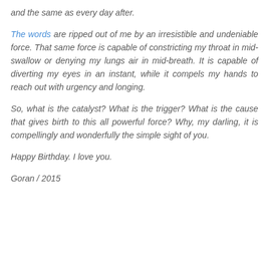and the same as every day after.
The words are ripped out of me by an irresistible and undeniable force. That same force is capable of constricting my throat in mid-swallow or denying my lungs air in mid-breath. It is capable of diverting my eyes in an instant, while it compels my hands to reach out with urgency and longing.
So, what is the catalyst? What is the trigger? What is the cause that gives birth to this all powerful force? Why, my darling, it is compellingly and wonderfully the simple sight of you.
Happy Birthday. I love you.
Goran / 2015